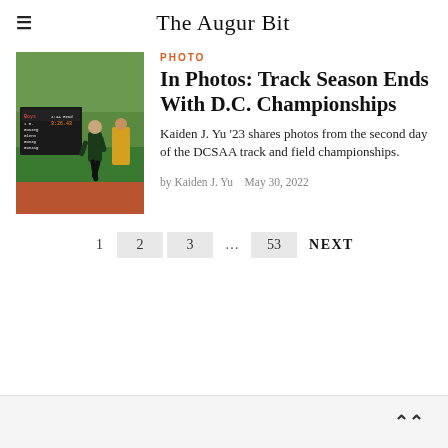The Augur Bit
[Figure (photo): A track athlete running on a red track with scoreboard visible in the background]
PHOTO
In Photos: Track Season Ends With D.C. Championships
Kaiden J. Yu ’23 shares photos from the second day of the DCSAA track and field championships.
by Kaiden J. Yu   May 30, 2022
1  2  3  ...  53  NEXT